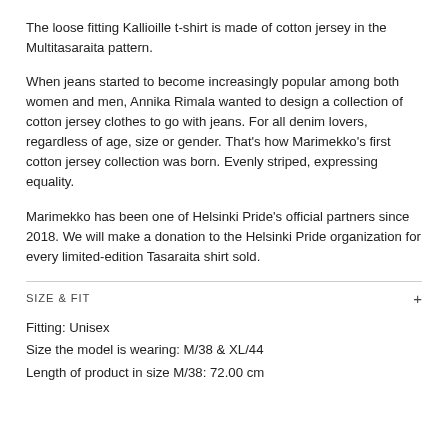The loose fitting Kallioille t-shirt is made of cotton jersey in the Multitasaraita pattern.
When jeans started to become increasingly popular among both women and men, Annika Rimala wanted to design a collection of cotton jersey clothes to go with jeans. For all denim lovers, regardless of age, size or gender. That’s how Marimekko’s first cotton jersey collection was born. Evenly striped, expressing equality.
Marimekko has been one of Helsinki Pride’s official partners since 2018. We will make a donation to the Helsinki Pride organization for every limited-edition Tasaraita shirt sold.
SIZE & FIT
Fitting: Unisex
Size the model is wearing: M/38 & XL/44
Length of product in size M/38: 72.00 cm